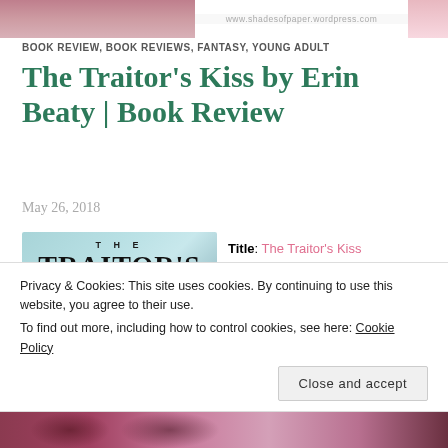[Figure (illustration): Blog header image with floral decorations and website URL www.shadesofpaper.wordpress.com]
BOOK REVIEW, BOOK REVIEWS, FANTASY, YOUNG ADULT
The Traitor's Kiss by Erin Beaty | Book Review
May 26, 2018
[Figure (photo): Book cover of The Traitor's Kiss with teal background and floral decoration]
Title: The Traitor's Kiss
Author: Erin
Privacy & Cookies: This site uses cookies. By continuing to use this website, you agree to their use. To find out more, including how to control cookies, see here: Cookie Policy
Close and accept